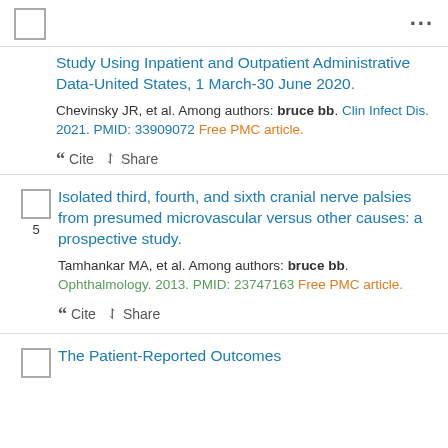...
Study Using Inpatient and Outpatient Administrative Data-United States, 1 March-30 June 2020.
Chevinsky JR, et al. Among authors: bruce bb. Clin Infect Dis. 2021. PMID: 33909072 Free PMC article.
Cite  Share
5 Isolated third, fourth, and sixth cranial nerve palsies from presumed microvascular versus other causes: a prospective study.
Tamhankar MA, et al. Among authors: bruce bb. Ophthalmology. 2013. PMID: 23747163 Free PMC article.
Cite  Share
The Patient-Reported Outcomes